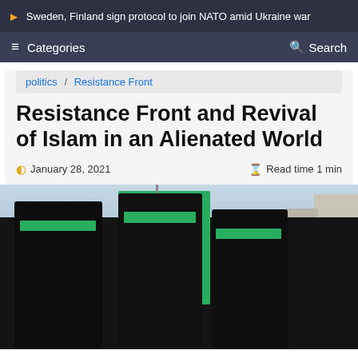Sweden, Finland sign protocol to join NATO amid Ukraine war
Categories  Search
politics / Resistance Front
Resistance Front and Revival of Islam in an Alienated World
January 28, 2021  Read time 1 min
[Figure (photo): Armed fighters wearing black uniforms and green Hamas headbands, carrying a large green Hamas flag, with buildings visible in the background.]